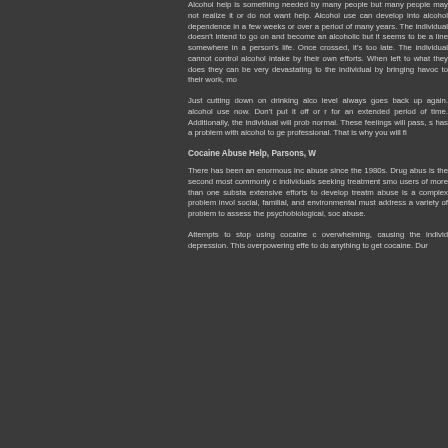Alcohol help is something needed by many people but many people may not realize it or do not want help. Alcohol use can develop into alcohol dependence in a few weeks or over a period of many years. The individual doesn't intend to go on and become an alcoholic but it seems to be a line somewhere in a person's life. Once crossed, it's too late. The individual cannot control alcohol intake by their own efforts. When left to what they does they can be very devastating to the individual by bringing havoc to their work, mo...
Just cutting down on drinking alco... level always goes back up again. alcohol use now. Don't put it off or r for an extended period of time. Additionally, the individual will prob normal. These feelings will pass, s has a problem with alcohol to ge professional. That is why you will fi...
Cocaine Abuse Help, Parsons, W...
There has been an enormous inc abuse since the 1980s. Drug abus is the second most commonly c individuals seeking treatment smo users of more than one substa extensive efforts to develop treatm abuse is a complex problem invol social, familial, and environmental must address a variety of problem to assess the psychobiological, soc abuse.
Attempts to stop using cocaine c overwhelming, causing the individ depression. This overpowering effe to do anything to get cocaine. Dur...